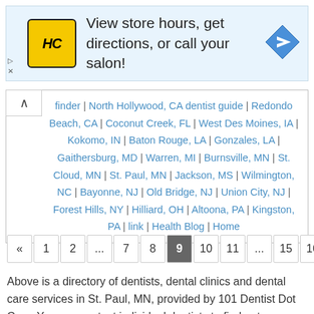[Figure (infographic): Advertisement banner for Hair Club with yellow HC logo, text 'View store hours, get directions, or call your salon!' and a blue navigation arrow icon.]
finder | North Hollywood, CA dentist guide | Redondo Beach, CA | Coconut Creek, FL | West Des Moines, IA | Kokomo, IN | Baton Rouge, LA | Gonzales, LA | Gaithersburg, MD | Warren, MI | Burnsville, MN | St. Cloud, MN | St. Paul, MN | Jackson, MS | Wilmington, NC | Bayonne, NJ | Old Bridge, NJ | Union City, NJ | Forest Hills, NY | Hilliard, OH | Altoona, PA | Kingston, PA | link | Health Blog | Home
« 1 2 ... 7 8 9 10 11 ... 15 16 »
Above is a directory of dentists, dental clinics and dental care services in St. Paul, MN, provided by 101 Dentist Dot Com. You can contact individual dentists to find out more information about their service